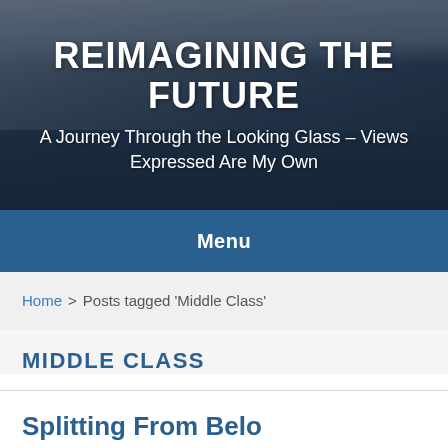[Figure (photo): Hero banner image with dark ocean/sea and cloudy sky background with overlaid text]
REIMAGINING THE FUTURE
A Journey Through the Looking Glass – Views Expressed Are My Own
Menu
Home > Posts tagged 'Middle Class'
MIDDLE CLASS
Splitting From Below...